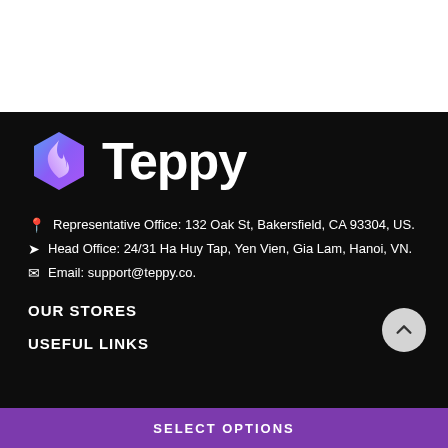[Figure (logo): Teppy logo with hexagonal icon containing a flame/leaf design in blue and purple gradient, with bold white text 'Teppy']
Representative Office: 132 Oak St, Bakersfield, CA 93304, US.
Head Office: 24/31 Ha Huy Tap, Yen Vien, Gia Lam, Hanoi, VN.
Email: support@teppy.co.
OUR STORES
USEFUL LINKS
SELECT OPTIONS